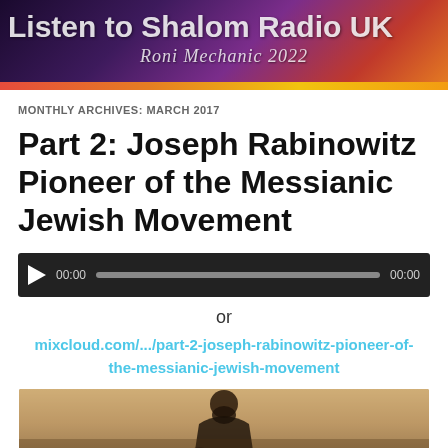[Figure (photo): Shalom Radio UK website banner with 'Listen to Shalom Radio UK' text and 'Roni Mechanic 2022' subtitle on a purple/red gradient background with an orange/red stripe at the bottom]
MONTHLY ARCHIVES: MARCH 2017
Part 2: Joseph Rabinowitz Pioneer of the Messianic Jewish Movement
[Figure (screenshot): Audio player with play button, 00:00 timestamps, and a progress bar on a dark background]
or
mixcloud.com/.../part-2-joseph-rabinowitz-pioneer-of-the-messianic-jewish-movement
[Figure (photo): Historical sepia portrait photograph of Joseph Rabinowitz, an older bearded man in formal attire]